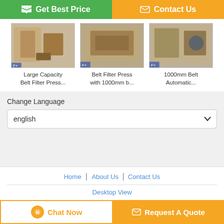[Figure (screenshot): Get Best Price button (green) and Contact Us button (orange) at top]
[Figure (photo): Large Capacity Belt Filter Press product thumbnail image]
Large Capacity Belt Filter Press...
[Figure (photo): Belt Filter Press with 1000mm b... product thumbnail image]
Belt Filter Press with 1000mm b...
[Figure (photo): 1000mm Belt Automatic... product thumbnail image]
1000mm Belt Automatic...
Change Language
english
Home | About Us | Contact Us
Desktop View
China filter press machine Supplier. Copyright © 2019 - 2022 industrial-filterpress.com. All rights reserved. Developed by ECER
[Figure (screenshot): Chat Now button and Request A Quote button at bottom]